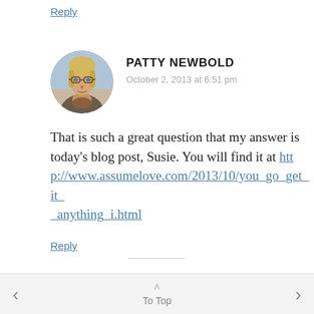Reply
[Figure (photo): Circular avatar photo of Patty Newbold, a woman with blonde hair and glasses]
PATTY NEWBOLD
October 2, 2013 at 6:51 pm
That is such a great question that my answer is today's blog post, Susie. You will find it at http://www.assumelove.com/2013/10/you_go_get_it__anything_i.html
Reply
< To Top >